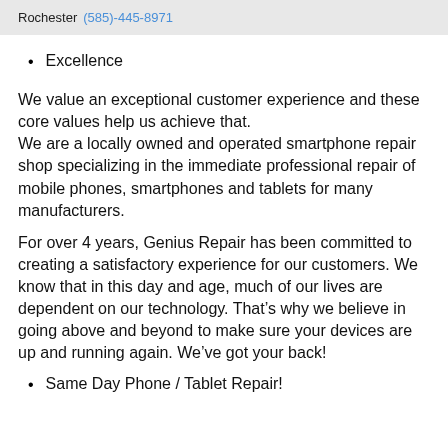Rochester (585)-445-8971
Excellence
We value an exceptional customer experience and these core values help us achieve that.
We are a locally owned and operated smartphone repair shop specializing in the immediate professional repair of mobile phones, smartphones and tablets for many manufacturers.
For over 4 years, Genius Repair has been committed to creating a satisfactory experience for our customers. We know that in this day and age, much of our lives are dependent on our technology. That’s why we believe in going above and beyond to make sure your devices are up and running again. We’ve got your back!
Same Day Phone / Tablet Repair!